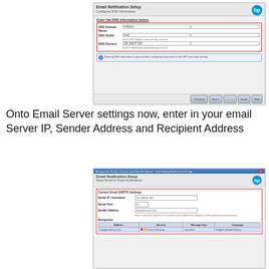[Figure (screenshot): Email Notification Setup - Configure DNS Information wizard window showing DNS Domain Name field with 'vmfocus', DNS Suffix field with 'local' and hint 'Enter DNS Suffixes separated by commas', DNS Servers field with '192.168.37.201' and hint 'Enter IP Addresses separated by commas', and an info note about DNS configuration being required for NTP and email settings. Navigation buttons at bottom.]
Onto Email Server settings now, enter in your email Server IP, Sender Address and Recipient Address
[Figure (screenshot): Email Notification Setup - Setup Email for Event Notifications wizard window showing Current Email (SMTP) Settings with Server IP/Hostname: 192.168.37.204, Server Port: 25, Sender Address: sac@vmfocus.com, and a Recipients table with columns Address, Severity, Message Type, Language. One row highlighted: craig@vmfocus.com, Critical/Warning severity, Standard, English (United States).]